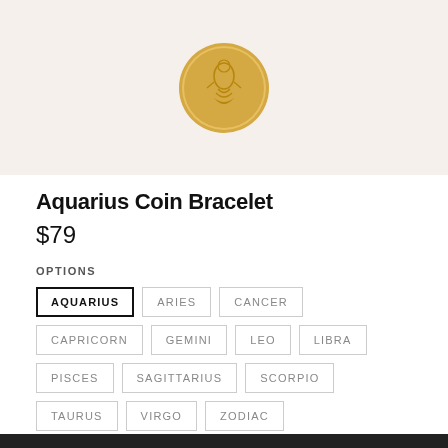[Figure (photo): Gold zodiac Aquarius coin pendant on a beige/cream background]
Aquarius Coin Bracelet
$79
OPTIONS
AQUARIUS (selected)
ARIES
CANCER
CAPRICORN
GEMINI
LEO
LIBRA
PISCES
SAGITTARIUS
SCORPIO
TAURUS
VIRGO
ZODIAC